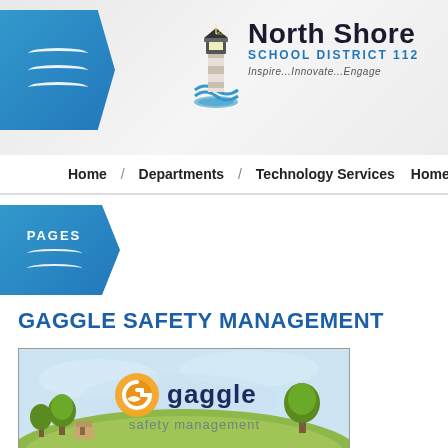[Figure (logo): North Shore School District 112 logo with lighthouse graphic, blue wave design, and tagline Inspire...Innovate...Engage]
Home / Departments / Technology Services Home
PAGES
GAGGLE SAFETY MANAGEMENT
[Figure (illustration): Gaggle safety management promotional image showing the Gaggle logo (orange G with wing) and text 'gaggle safety management' over an illustrated landscape with trees and hills]